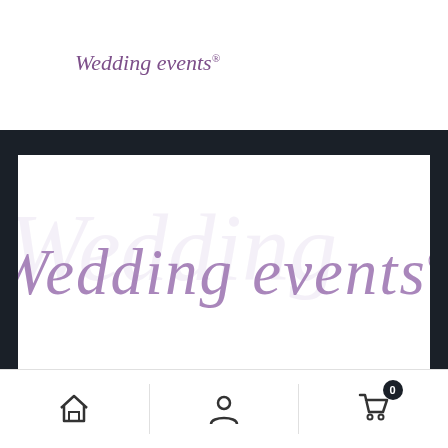[Figure (logo): Wedding events script logo in purple/violet italic cursive font with registered trademark symbol, small version in top-left header area]
[Figure (logo): Wedding events script logo large version in purple/violet italic cursive font with registered trademark symbol, displayed in white box on dark background]
Wedding Events was founded in 2006.
A company dedicated to making wedding furniture
[Figure (illustration): Bottom navigation bar with home icon, user/person icon, and shopping cart icon with badge showing 0]